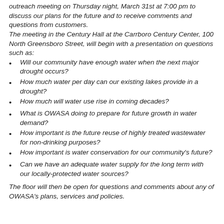outreach meeting on Thursday night, March 31st at 7:00 pm to discuss our plans for the future and to receive comments and questions from customers. The meeting in the Century Hall at the Carrboro Century Center, 100 North Greensboro Street, will begin with a presentation on questions such as:
Will our community have enough water when the next major drought occurs?
How much water per day can our existing lakes provide in a drought?
How much will water use rise in coming decades?
What is OWASA doing to prepare for future growth in water demand?
How important is the future reuse of highly treated wastewater for non-drinking purposes?
How important is water conservation for our community's future?
Can we have an adequate water supply for the long term with our locally-protected water sources?
The floor will then be open for questions and comments about any of OWASA's plans, services and policies.